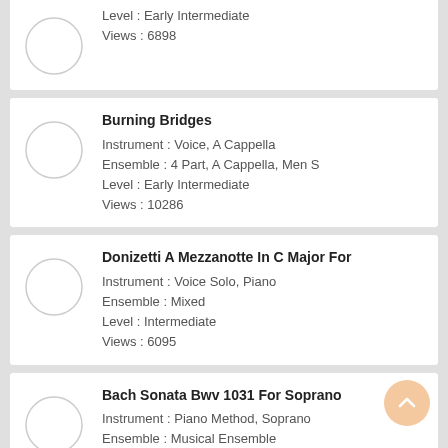Level : Early Intermediate
Views : 6898
Burning Bridges
Instrument : Voice, A Cappella
Ensemble : 4 Part, A Cappella, Men S
Level : Early Intermediate
Views : 10286
Donizetti A Mezzanotte In C Major For
Instrument : Voice Solo, Piano
Ensemble : Mixed
Level : Intermediate
Views : 6095
Bach Sonata Bwv 1031 For Soprano
Instrument : Piano Method, Soprano
Ensemble : Musical Ensemble
Level : Advanced
Views : 5270